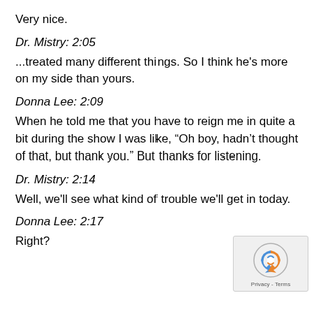Very nice.
Dr. Mistry: 2:05
...treated many different things. So I think he's more on my side than yours.
Donna Lee: 2:09
When he told me that you have to reign me in quite a bit during the show I was like, “Oh boy, hadn’t thought of that, but thank you.” But thanks for listening.
Dr. Mistry: 2:14
Well, we'll see what kind of trouble we'll get in today.
Donna Lee: 2:17
Right?
[Figure (logo): reCAPTCHA logo with Privacy - Terms text]